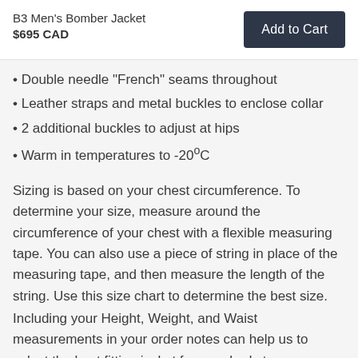B3 Men's Bomber Jacket
$695 CAD
Double needle "French" seams throughout
Leather straps and metal buckles to enclose collar
2 additional buckles to adjust at hips
Warm in temperatures to -20°C
Sizing is based on your chest circumference. To determine your size, measure around the circumference of your chest with a flexible measuring tape. You can also use a piece of string in place of the measuring tape, and then measure the length of the string. Use this size chart to determine the best size.
Including your Height, Weight, and Waist measurements in your order notes can help us to select the best fitting jacket for your body type.